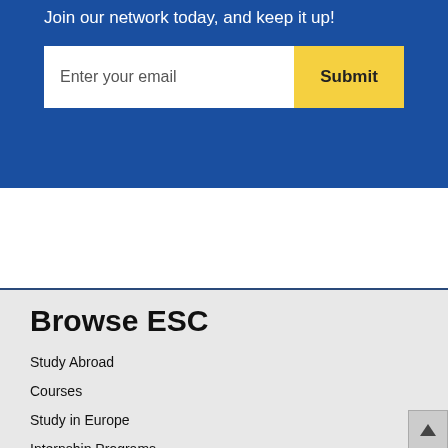Join our network today, and keep it up!
[Figure (screenshot): Email input form with text field 'Enter your email' and yellow Submit button]
Browse ESC
Study Abroad
Courses
Study in Europe
Internship Programs
Scholarships
About ESC